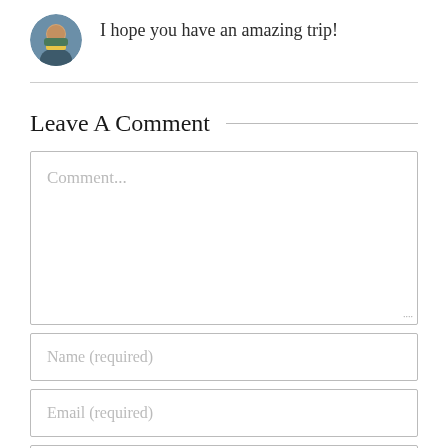I hope you have an amazing trip!
Leave A Comment
Comment...
Name (required)
Email (required)
Website